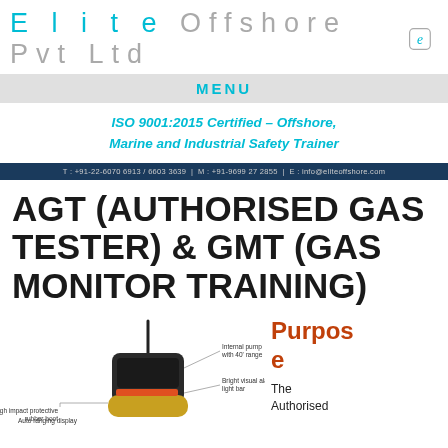Elite Offshore Pvt Ltd
MENU
ISO 9001:2015 Certified – Offshore, Marine and Industrial Safety Trainer
T : +91-22-6070 6913 / 6603 3639 | M : +91-9699 27 2855 | E : info@eliteoffshore.com
AGT (AUTHORISED GAS TESTER) & GMT (GAS MONITOR TRAINING)
[Figure (photo): Photograph of a gas detection device with labeled parts: High impact protective rubber boot, Internal pump with 40' range, Bright visual alarm light bar, Auto ranging display]
Purpose
The Authorised